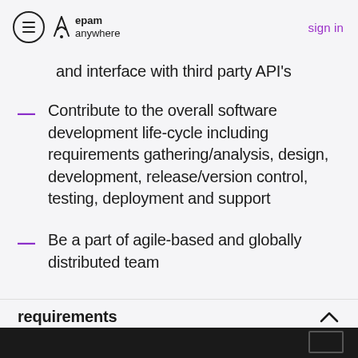epam anywhere | sign in
and interface with third party API's
Contribute to the overall software development life-cycle including requirements gathering/analysis, design, development, release/version control, testing, deployment and support
Be a part of agile-based and globally distributed team
requirements